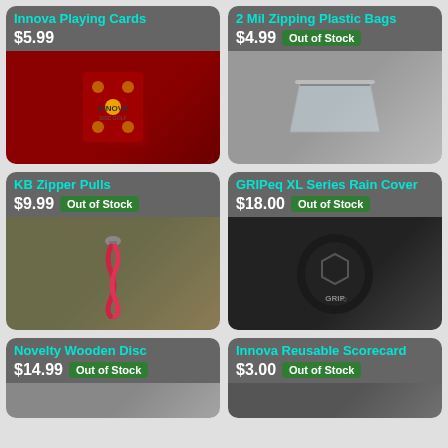[Figure (photo): Innova Playing Cards product card. Price $5.99. No out-of-stock badge. Shows red Innova branded playing card box.]
[Figure (photo): 2 Mil Zipping Plastic Bags product card. Price $4.99. Out of Stock badge. Shows clear plastic zip bag.]
[Figure (photo): KB Zipper Pulls product card. Price $9.99. Out of Stock badge. Shows red paracord zipper pull on bag.]
[Figure (photo): GRIPeq XL Series Rain Cover product card. Price $18.00. Out of Stock badge. Shows black GRIPeq rain cover bag.]
[Figure (photo): Novelty Wooden Disc product card. Price $14.99. Out of Stock badge. Partially visible product image.]
[Figure (photo): Innova Reusable Scorecard product card. Price $3.00. Out of Stock badge. Partially visible product image.]